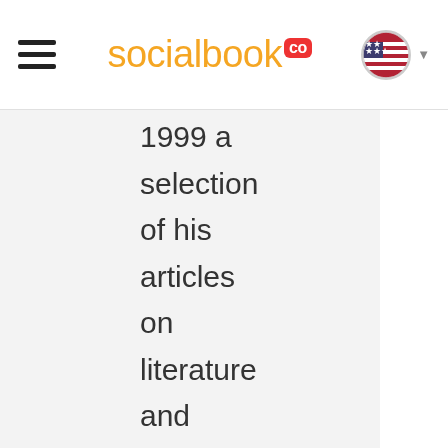[Figure (screenshot): socialbook.co website header with hamburger menu, orange logo text 'socialbook' with red 'co' badge, and US flag with dropdown caret]
1999 a selection of his articles on literature and culture written for newspapers and magazines in Turkey and abroad